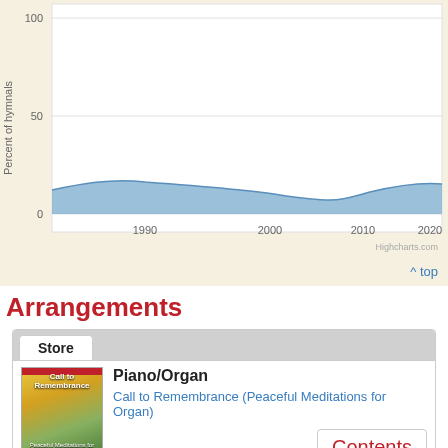[Figure (area-chart): Percent of hymnals over time]
^ top
Arrangements
Store
[Figure (photo): Book cover: Call to Remembrance (Peaceful Meditations for Organ)]
Piano/Organ
Call to Remembrance (Peaceful Meditations for Organ)
Contents
More Piano/Organ